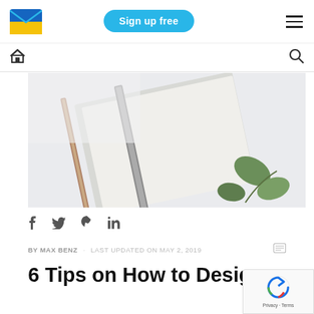Sign up free
[Figure (photo): Flatlay photo of a notebook with a pencil and green eucalyptus leaves on a light background]
f  y  p  in
BY MAX BENZ   LAST UPDATED ON MAY 2, 2019
6 Tips on How to Design a